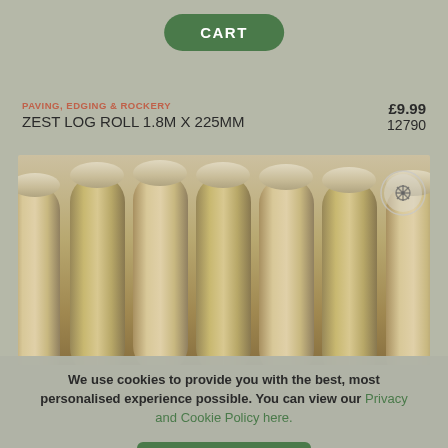CART
PAVING, EDGING & ROCKERY    £9.99
ZEST LOG ROLL 1.8M X 225MM    12790
[Figure (photo): Close-up photo of a log roll garden edging product showing multiple rounded wooden stakes arranged side by side vertically, with natural wood grain texture and tan/beige coloring. A circular tree/plant logo watermark is visible in the top-right corner of the image.]
We use cookies to provide you with the best, most personalised experience possible. You can view our Privacy and Cookie Policy here.
ACCEPT